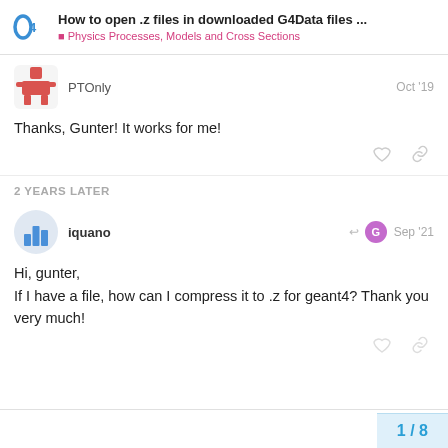How to open .z files in downloaded G4Data files ... | Physics Processes, Models and Cross Sections
PTOnly   Oct '19
Thanks, Gunter! It works for me!
2 YEARS LATER
iquano   Sep '21
Hi, gunter,
If I have a file, how can I compress it to .z for geant4? Thank you very much!
1 / 8